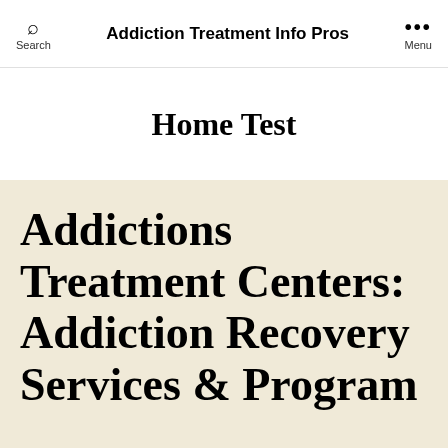Search | Addiction Treatment Info Pros | Menu
Home Test
Addictions Treatment Centers: Addiction Recovery Services & Program